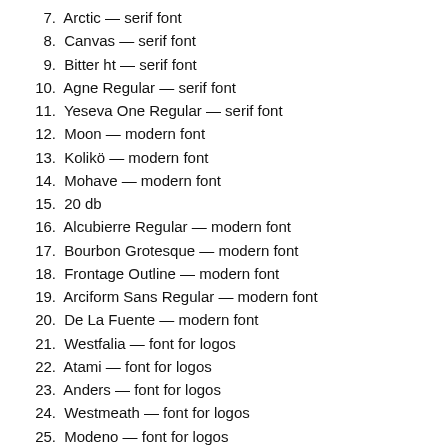7. Arctic — serif font
8. Canvas — serif font
9. Bitter ht — serif font
10. Agne Regular — serif font
11. Yeseva One Regular — serif font
12. Moon — modern font
13. Kolikö — modern font
14. Mohave — modern font
15. 20 db
16. Alcubierre Regular — modern font
17. Bourbon Grotesque — modern font
18. Frontage Outline — modern font
19. Arciform Sans Regular — modern font
20. De La Fuente — modern font
21. Westfalia — font for logos
22. Atami — font for logos
23. Anders — font for logos
24. Westmeath — font for logos
25. Modeno — font for logos